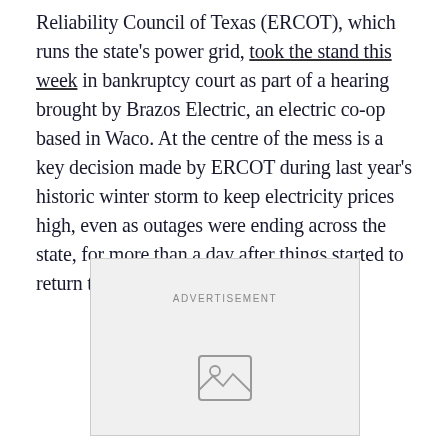Reliability Council of Texas (ERCOT), which runs the state's power grid, took the stand this week in bankruptcy court as part of a hearing brought by Brazos Electric, an electric co-op based in Waco. At the centre of the mess is a key decision made by ERCOT during last year's historic winter storm to keep electricity prices high, even as outages were ending across the state, for more than a day after things started to return to normal.
[Figure (other): Advertisement placeholder box with image icon]